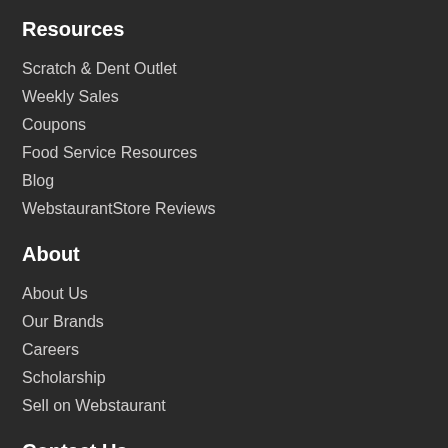Resources
Scratch & Dent Outlet
Weekly Sales
Coupons
Food Service Resources
Blog
WebstaurantStore Reviews
About
About Us
Our Brands
Careers
Scholarship
Sell on Webstaurant
Contact Us
Help Center
Chat Online
Track My Order
Shipping & Delivery